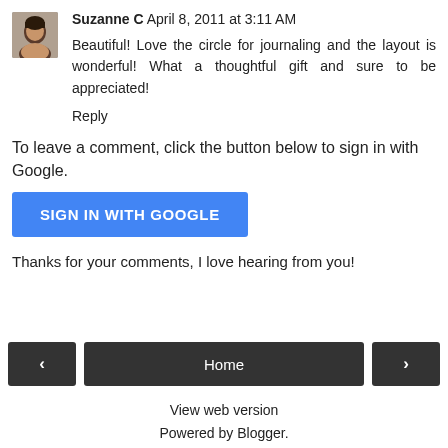Suzanne C  April 8, 2011 at 3:11 AM
Beautiful! Love the circle for journaling and the layout is wonderful! What a thoughtful gift and sure to be appreciated!
Reply
To leave a comment, click the button below to sign in with Google.
[Figure (other): Blue button labeled SIGN IN WITH GOOGLE]
Thanks for your comments, I love hearing from you!
[Figure (other): Navigation bar with left arrow button, Home button, and right arrow button]
View web version
Powered by Blogger.